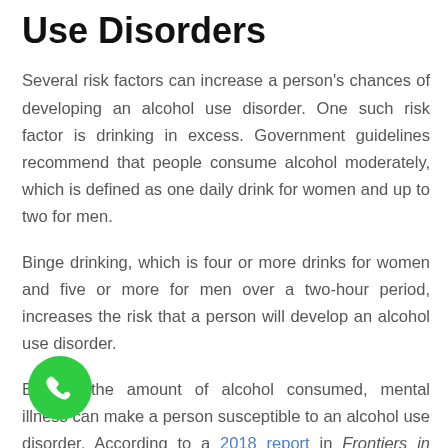Use Disorders
Several risk factors can increase a person's chances of developing an alcohol use disorder. One such risk factor is drinking in excess. Government guidelines recommend that people consume alcohol moderately, which is defined as one daily drink for women and up to two for men.
Binge drinking, which is four or more drinks for women and five or more for men over a two-hour period, increases the risk that a person will develop an alcohol use disorder.
Beyond the amount of alcohol consumed, mental illness can make a person susceptible to an alcohol [use disorder]. According to a 2018 report in Frontiers in Neuroscience, schizophrenia, depression, and [more conditions listed below]